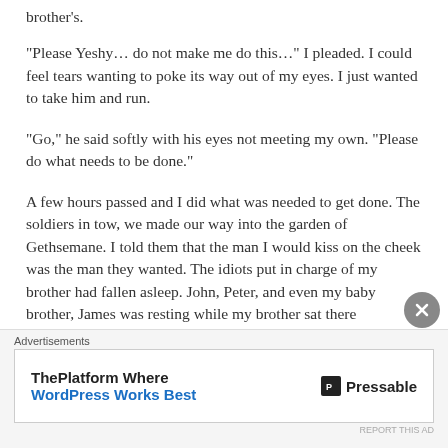brother's.
“Please Yeshy… do not make me do this…” I pleaded. I could feel tears wanting to poke its way out of my eyes. I just wanted to take him and run.
“Go,” he said softly with his eyes not meeting my own. “Please do what needs to be done.”
A few hours passed and I did what was needed to get done. The soldiers in tow, we made our way into the garden of Gethsemane. I told them that the man I would kiss on the cheek was the man they wanted. The idiots put in charge of my brother had fallen asleep. John, Peter, and even my baby brother, James was resting while my brother sat there
Advertisements
[Figure (other): Advertisement banner: ThePlatform Where WordPress Works Best | Pressable logo]